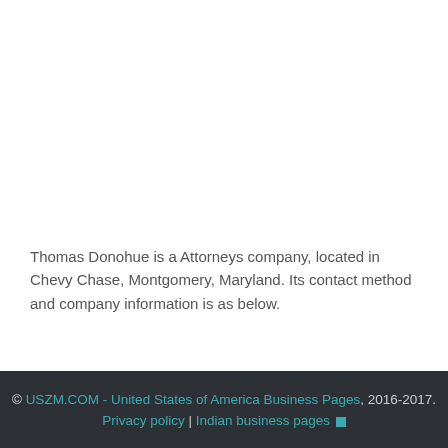Thomas Donohue is a Attorneys company, located in Chevy Chase, Montgomery, Maryland. Its contact method and company information is as below.
© USZM.COM - United States of America Business Pages, 2016-2017. Privacy policy | Indian business pages ■